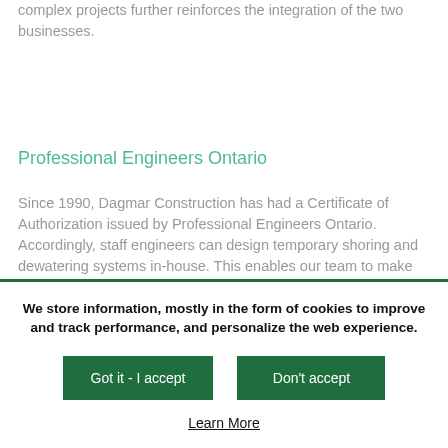complex projects further reinforces the integration of the two businesses.
Professional Engineers Ontario
Since 1990, Dagmar Construction has had a Certificate of Authorization issued by Professional Engineers Ontario. Accordingly, staff engineers can design temporary shoring and dewatering systems in-house. This enables our team to make
We store information, mostly in the form of cookies to improve and track performance, and personalize the web experience.
Got it - I accept
Don't accept
Learn More